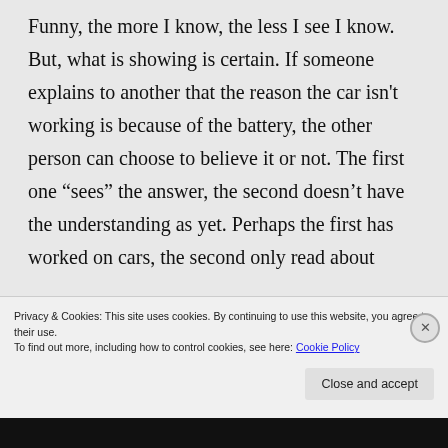Funny, the more I know, the less I see I know. But, what is showing is certain. If someone explains to another that the reason the car isn't working is because of the battery, the other person can choose to believe it or not. The first one “sees” the answer, the second doesn’t have the understanding as yet. Perhaps the first has worked on cars, the second only read about
Privacy & Cookies: This site uses cookies. By continuing to use this website, you agree to their use.
To find out more, including how to control cookies, see here: Cookie Policy